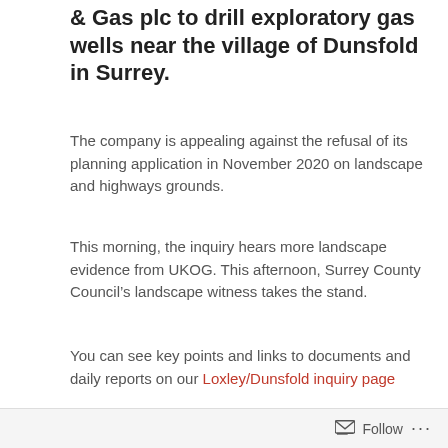& Gas plc to drill exploratory gas wells near the village of Dunsfold in Surrey.
The company is appealing against the refusal of its planning application in November 2020 on landscape and highways grounds.
This morning, the inquiry hears more landscape evidence from UKOG. This afternoon, Surrey County Council’s landscape witness takes the stand.
You can see key points and links to documents and daily reports on our Loxley/Dunsfold inquiry page
This is not a verbatim report. Please contact us about any mistakes or misinterpretation
[Figure (photo): Partial outdoor landscape photo showing sky with clouds and some trees/vegetation at the bottom edge.]